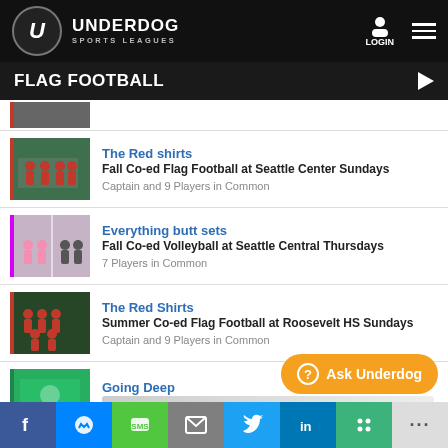UNDERDOG SPORTS LEAGUES
FLAG FOOTBALL
The Red shirts | Fall Co-ed Flag Football at Seattle Center Sundays | Captain and 9 Players in Common
Everything butt sets | Fall Co-ed Volleyball at Seattle Central Thursdays | 7 Players in Common
The Red Shirts | Summer Co-ed Flag Football at Roosevelt HS Sundays | Captain and 9 Players in Common
Going Deep
f | messenger | SMS | mail | twitter | in | slack | ...